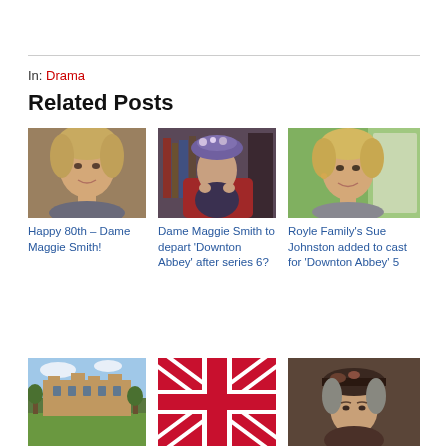In: Drama
Related Posts
[Figure (photo): Photo of Dame Maggie Smith, older blonde woman]
[Figure (photo): Dame Maggie Smith in Downton Abbey costume with hat]
[Figure (photo): Sue Johnston, blonde woman smiling]
Happy 80th – Dame Maggie Smith!
Dame Maggie Smith to depart 'Downton Abbey' after series 6?
Royle Family's Sue Johnston added to cast for 'Downton Abbey' 5
[Figure (photo): Highclere Castle exterior, Downton Abbey filming location]
[Figure (photo): British Union Jack flag]
[Figure (photo): Dame Maggie Smith in period costume close-up]